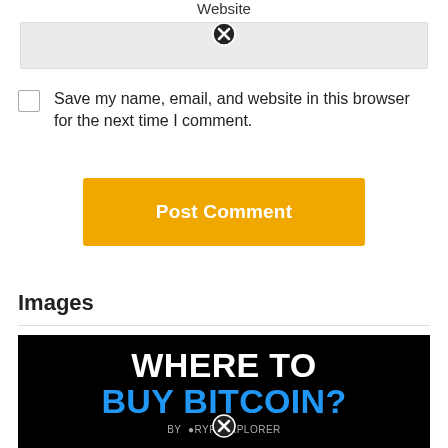Website
Save my name, email, and website in this browser for the next time I comment.
Post Comment
Images
[Figure (illustration): Black banner image with text 'WHERE TO BUY BITCOIN?' in white and blue, with 'BY CRYPTOEXPLORER' at the bottom.]